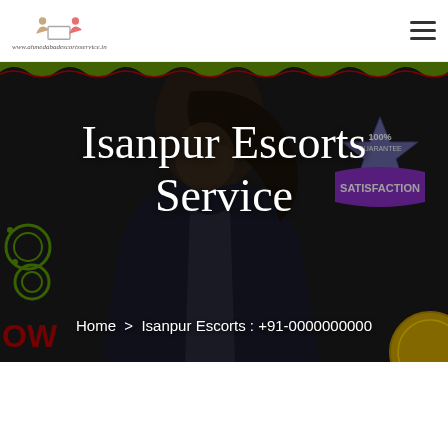www.ahmedabadescortsservice.in
Isanpur Escorts Service
Home > Isanpur Escorts : +91-0000000000